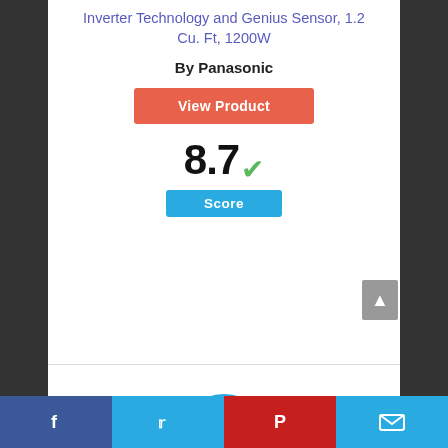Inverter Technology and Genius Sensor, 1.2 Cu. Ft, 1200W
By Panasonic
View Product
8.7
Score
4
Facebook | Twitter | Pinterest | Email